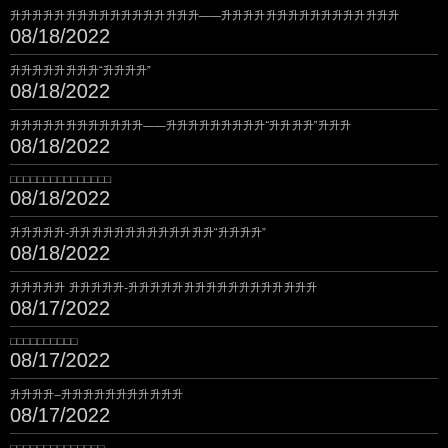[corrupted text] — — [corrupted text]
08/18/2022
[corrupted text] "[corrupted]"
08/18/2022
[corrupted text] — — [corrupted text] "[corrupted]" [corrupted]
08/18/2022
[corrupted text]
08/18/2022
[corrupted] - [corrupted text] "[corrupted]"
08/18/2022
[corrupted] [corrupted] - [corrupted text]
08/17/2022
[corrupted text]
08/17/2022
[corrupted] – [corrupted text]
08/17/2022
[corrupted text]
(date cut off)